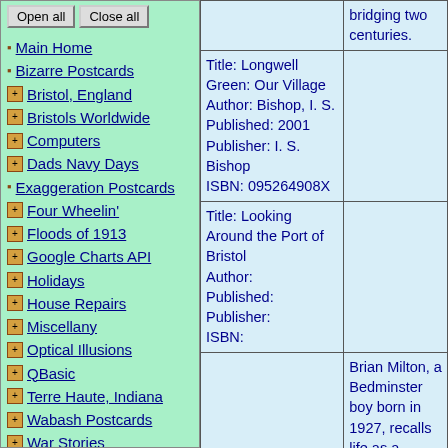Open all | Close all
Main Home
Bizarre Postcards
Bristol, England
Bristols Worldwide
Computers
Dads Navy Days
Exaggeration Postcards
Four Wheelin'
Floods of 1913
Google Charts API
Holidays
House Repairs
Miscellany
Optical Illusions
QBasic
Terre Haute, Indiana
Wabash Postcards
War Stories
Web Stuff
Utilities
About Me
| bridging two centuries. |  |
| Title: Longwell Green: Our Village
Author: Bishop, I. S.
Published: 2001
Publisher: I. S. Bishop
ISBN: 095264908X |  |
| Title: Looking Around the Port of Bristol
Author:
Published:
Publisher:
ISBN: |  |
|  | Brian Milton, a Bedminster boy born in 1927, recalls life as a young lad in Bristol in the |